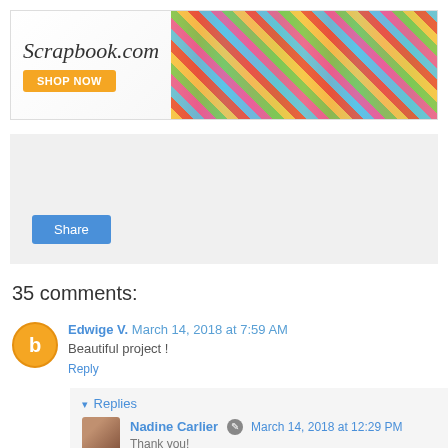[Figure (other): Scrapbook.com advertisement banner with colorful craft supplies and a Shop Now button]
[Figure (other): Gray share area with a blue Share button]
35 comments:
Edwige V. March 14, 2018 at 7:59 AM
Beautiful project !
Reply
Replies
Nadine Carlier March 14, 2018 at 12:29 PM
Thank you!